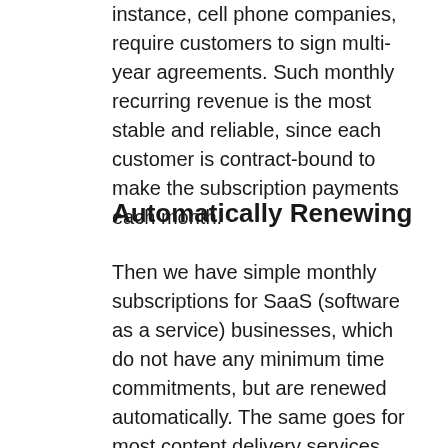instance, cell phone companies, require customers to sign multi-year agreements. Such monthly recurring revenue is the most stable and reliable, since each customer is contract-bound to make the subscription payments each month.
Automatically Renewing
Then we have simple monthly subscriptions for SaaS (software as a service) businesses, which do not have any minimum time commitments, but are renewed automatically. The same goes for most content delivery services, such as Netflix, which have automatic renewals every month, until customers cancel their subscriptions. While such monthly recurring revenue is less reliable than the revenue backed by contracts, it does drive